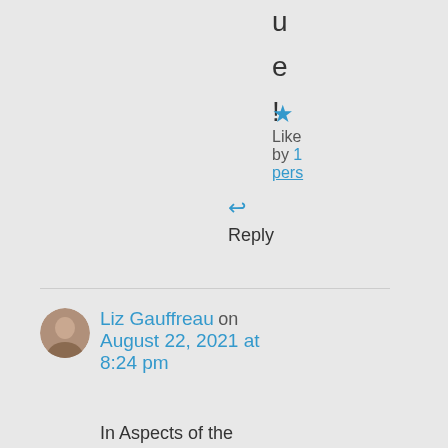u
e
!
★ Like by 1 pers
↩ Reply
Liz Gauffreau on August 22, 2021 at 8:24 pm
In Aspects of the Novel, E.M. Forster